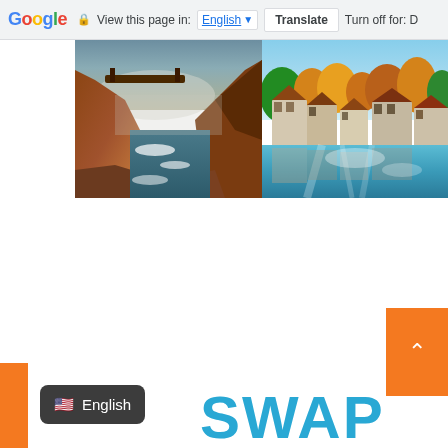Google | View this page in: English | Translate | Turn off for: D
[Figure (photo): Two landscape photos side by side: left shows a canyon with rapids/waterfall and rocky cliffs with warm orange tones; right shows a European village canal scene with blue water, autumn trees, and buildings.]
[Figure (screenshot): Orange scroll-to-top button with upward arrow chevron on the right side]
[Figure (screenshot): Dark tooltip overlay showing US flag emoji and 'English' text, with orange bar behind on left and partial orange bar. Large cyan 'SWAP' text partially visible at bottom right.]